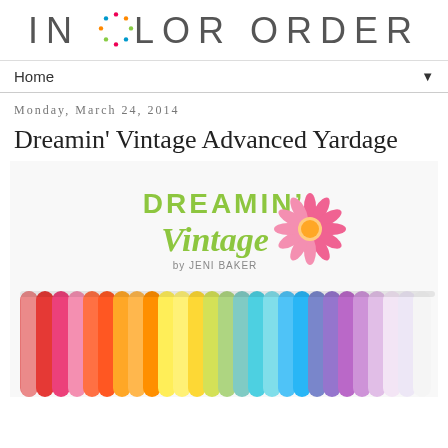IN COLOR ORDER
Home ▼
Monday, March 24, 2014
Dreamin' Vintage Advanced Yardage
[Figure (photo): Dreamin' Vintage by Jeni Baker fabric collection promotional image showing rolled fabric bolts in rainbow colors arranged on a white background, with the Dreamin' Vintage logo and a pink daisy flower graphic.]